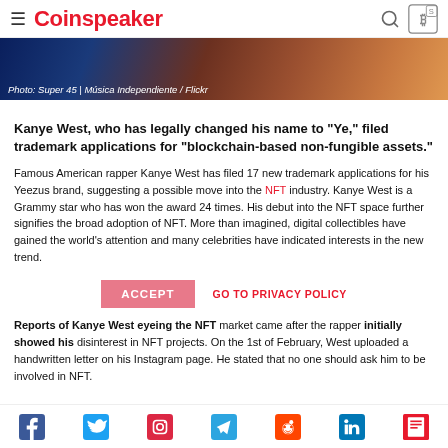Coinspeaker
[Figure (photo): Photo banner showing colorful performance backdrop with text: Photo: Super 45 | Música Independiente / Flickr]
Photo: Super 45 | Música Independiente / Flickr
Kanye West, who has legally changed his name to "Ye," filed trademark applications for "blockchain-based non-fungible assets."
Famous American rapper Kanye West has filed 17 new trademark applications for his Yeezus brand, suggesting a possible move into the NFT industry. Kanye West is a Grammy star who has won the award 24 times. His debut into the NFT space further signifies the broad adoption of NFT. More than imagined, digital collectibles have gained the world's attention and many celebrities have indicated interests in the new trend.
Reports of Kanye West eyeing the NFT market came after the rapper initially showed his disinterest in NFT projects. On the 1st of February, West uploaded a handwritten letter on his Instagram page. He stated that no one should ask him to be involved in NFT.